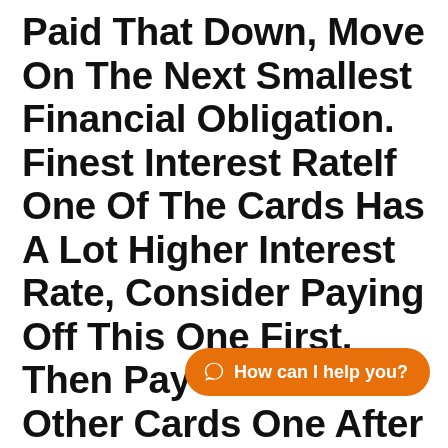Paid That Down, Move On The Next Smallest Financial Obligation. Finest Interest RateIf One Of The Cards Has A Lot Higher Interest Rate, Consider Paying Off This One First. Then Pay Back Your Other Cards One After Another. Whichever Choice You Select: Keep Making The Minimum Payments On All Of Your
[Figure (other): Orange WhatsApp chat button with text 'How can I help you?']